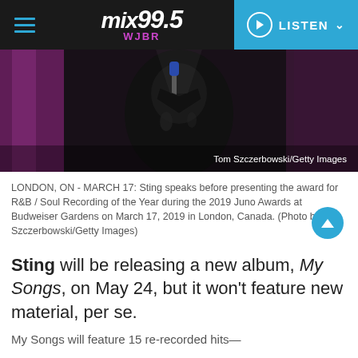mix 99.5 WJBR — LISTEN
[Figure (photo): Person in black leather jacket holding a microphone on stage with purple drapes in background, dimly lit. Credit: Tom Szczerbowski/Getty Images]
LONDON, ON - MARCH 17: Sting speaks before presenting the award for R&B / Soul Recording of the Year during the 2019 Juno Awards at Budweiser Gardens on March 17, 2019 in London, Canada. (Photo by Tom Szczerbowski/Getty Images)
Sting will be releasing a new album, My Songs, on May 24, but it won't feature new material, per se.